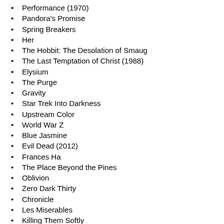Performance (1970)
Pandora's Promise
Spring Breakers
Her
The Hobbit: The Desolation of Smaug
The Last Temptation of Christ (1988)
Elysium
The Purge
Gravity
Star Trek Into Darkness
Upstream Color
World War Z
Blue Jasmine
Evil Dead (2012)
Frances Ha
The Place Beyond the Pines
Oblivion
Zero Dark Thirty
Chronicle
Les Miserables
Killing Them Softly
Grey Gardens (2009)
Side Effects
Cloud Atlas
Man Of Steel
On The Road
The Master
Cosmopolis